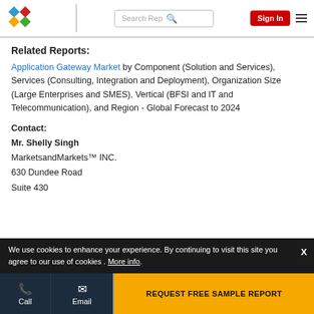MarketsandMarkets logo | Search Rep | Sign In
Related Reports:
Application Gateway Market by Component (Solution and Services), Services (Consulting, Integration and Deployment), Organization Size (Large Enterprises and SMES), Vertical (BFSI and IT and Telecommunication), and Region - Global Forecast to 2024
Contact:
Mr. Shelly Singh
MarketsandMarkets™ INC.
630 Dundee Road
Suite 430
We use cookies to enhance your experience. By continuing to visit this site you agree to our use of cookies . More info.
Call | Email | REQUEST FREE SAMPLE REPORT